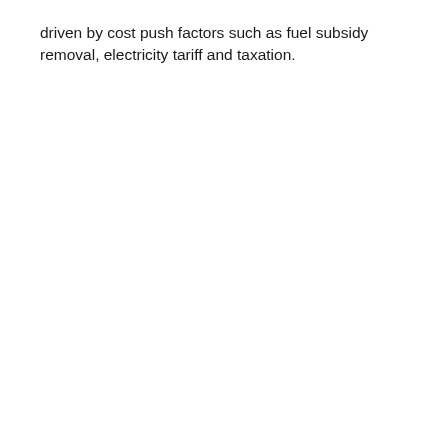driven by cost push factors such as fuel subsidy removal, electricity tariff and taxation.